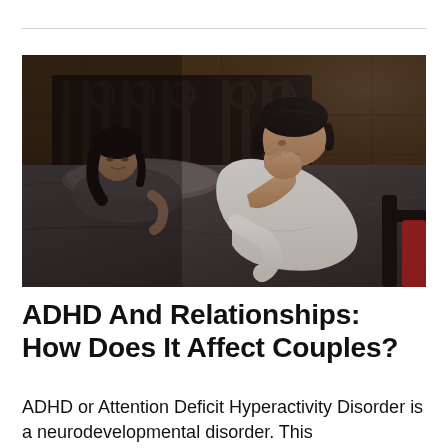[Figure (photo): A couple in a bedroom in distress. A young man in a white t-shirt sits on the edge of the bed with his head in his hand, looking downward. A young woman lies in the bed in the background, looking toward him with a concerned expression. The room has dark bedding and a wooden headboard with a metal frame.]
ADHD And Relationships: How Does It Affect Couples?
ADHD or Attention Deficit Hyperactivity Disorder is a neurodevelopmental disorder. This…